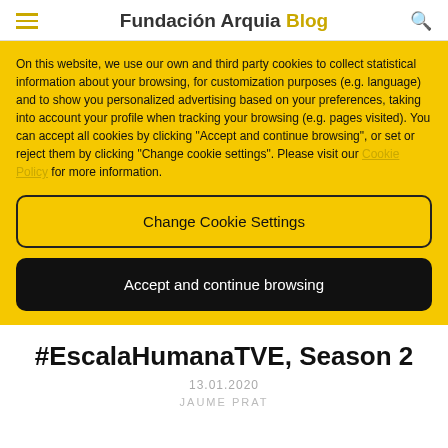Fundación Arquia Blog
On this website, we use our own and third party cookies to collect statistical information about your browsing, for customization purposes (e.g. language) and to show you personalized advertising based on your preferences, taking into account your profile when tracking your browsing (e.g. pages visited). You can accept all cookies by clicking "Accept and continue browsing", or set or reject them by clicking "Change cookie settings". Please visit our Cookie Policy for more information.
Change Cookie Settings
Accept and continue browsing
#EscalaHumanaTVE, Season 2
13.01.2020
JAUME PRAT